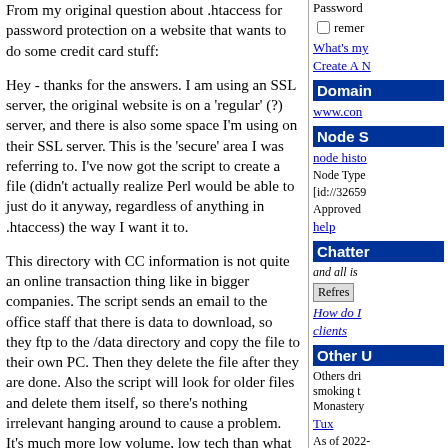From my original question about .htaccess for password protection on a website that wants to do some credit card stuff:
Hey - thanks for the answers. I am using an SSL server, the original website is on a 'regular' (?) server, and there is also some space I'm using on their SSL server. This is the 'secure' area I was referring to. I've now got the script to create a file (didn't actually realize Perl would be able to just do it anyway, regardless of anything in .htaccess) the way I want it to.
This directory with CC information is not quite an online transaction thing like in bigger companies. The script sends an email to the office staff that there is data to download, so they ftp to the /data directory and copy the file to their own PC. Then they delete the file after they are done. Also the script will look for older files and delete them itself, so there's nothing irrelevant hanging around to cause a problem. It's much more low volume, low tech than what you may have been thinking. The fact that the file & it's contents is physically removed from the server within a short timeframe was my suggestion to the boss. Having nothing there most of the time seemed like the best security to me. I just need to be relatively secure for a short time period.
Password
remer
What's my
Create A N
Domain
www.con
Node S
node histo
Node Type
[id://3265
Approved
help
Chatte
and all is
Refresh
How do I
clients
Other U
Others dri smoking t Monastery
Tux
As of 2022-
Section
Seekers of
Cool Uses